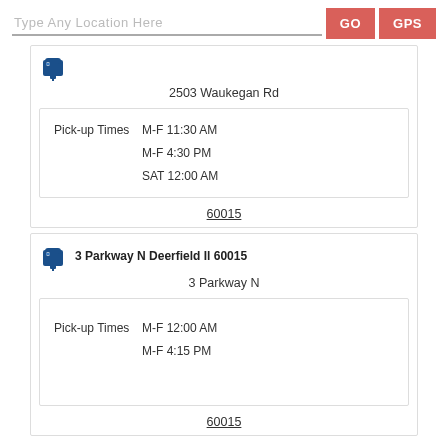Type Any Location Here
GO
GPS
2503 Waukegan Rd
Pick-up Times M-F 11:30 AM
M-F 4:30 PM
SAT 12:00 AM
60015
3 Parkway N Deerfield Il 60015
3 Parkway N
Pick-up Times M-F 12:00 AM
M-F 4:15 PM
60015